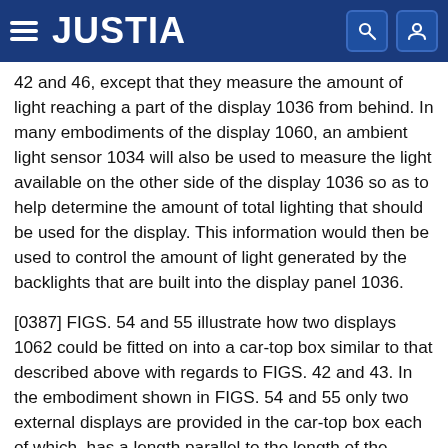JUSTIA
42 and 46, except that they measure the amount of light reaching a part of the display 1036 from behind. In many embodiments of the display 1060, an ambient light sensor 1034 will also be used to measure the light available on the other side of the display 1036 so as to help determine the amount of total lighting that should be used for the display. This information would then be used to control the amount of light generated by the backlights that are built into the display panel 1036.
[0387] FIGS. 54 and 55 illustrate how two displays 1062 could be fitted on into a car-top box similar to that described above with regards to FIGS. 42 and 43. In the embodiment shown in FIGS. 54 and 55 only two external displays are provided in the car-top box each of which, has a length parallel to the length of the vehicle upon which they are mounted. In FIG. 54, the numeral 1066